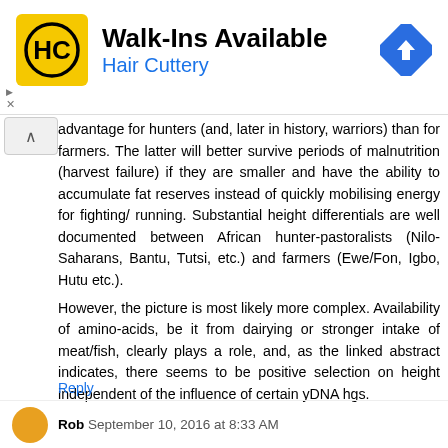[Figure (other): Hair Cuttery advertisement banner with yellow logo, 'Walk-Ins Available' headline, 'Hair Cuttery' subtitle in blue, and a blue navigation direction sign icon on the right]
advantage for hunters (and, later in history, warriors) than for farmers. The latter will better survive periods of malnutrition (harvest failure) if they are smaller and have the ability to accumulate fat reserves instead of quickly mobilising energy for fighting/ running. Substantial height differentials are well documented between African hunter-pastoralists (Nilo-Saharans, Bantu, Tutsi, etc.) and farmers (Ewe/Fon, Igbo, Hutu etc.).
However, the picture is most likely more complex. Availability of amino-acids, be it from dairying or stronger intake of meat/fish, clearly plays a role, and, as the linked abstract indicates, there seems to be positive selection on height independent of the influence of certain yDNA hgs.
Reply
Rob September 10, 2016 at 8:33 AM